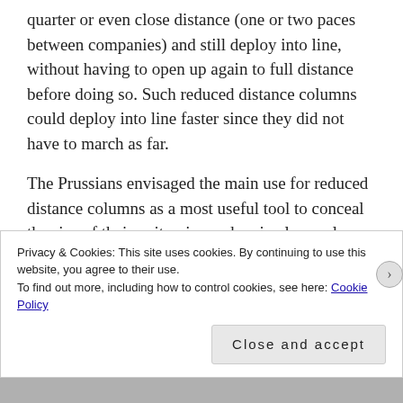quarter or even close distance (one or two paces between companies) and still deploy into line, without having to open up again to full distance before doing so. Such reduced distance columns could deploy into line faster since they did not have to march as far.
The Prussians envisaged the main use for reduced distance columns as a most useful tool to conceal the size of their units, since when in close column it was very difficult for an observer to judge this accurately. The Comte de Gisors enumerated the consequent advantages
Privacy & Cookies: This site uses cookies. By continuing to use this website, you agree to their use.
To find out more, including how to control cookies, see here: Cookie Policy
Close and accept